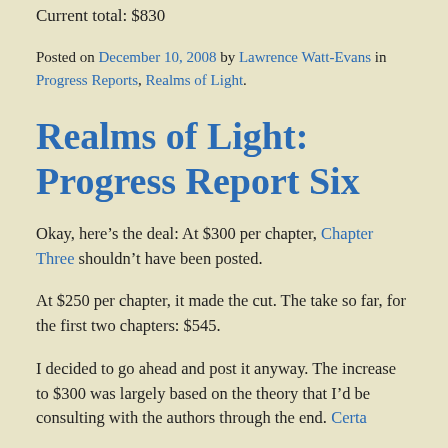Next chapter at: $300
Current total: $830
Posted on December 10, 2008 by Lawrence Watt-Evans in Progress Reports, Realms of Light.
Realms of Light: Progress Report Six
Okay, here’s the deal: At $300 per chapter, Chapter Three shouldn’t have been posted.
At $250 per chapter, it made the cut. The take so far, for the first two chapters: $545.
I decided to go ahead and post it anyway. The increase to $300 was largely based on the theory that I’d be consulting with the authors through Chapter...